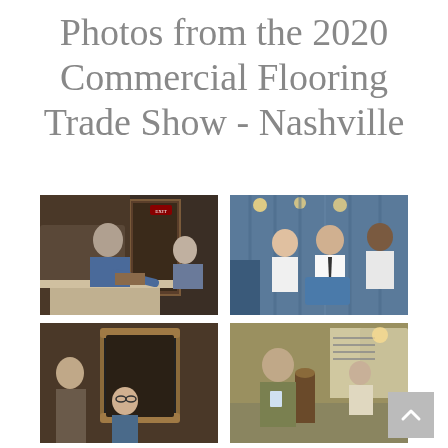Photos from the 2020 Commercial Flooring Trade Show - Nashville
[Figure (photo): Man in blue shirt at a booth table, presenting or demonstrating something to another person, indoor venue with wooden door in background]
[Figure (photo): Group of people at a trade show booth with blue curtain backdrop, shaking hands and exchanging materials]
[Figure (photo): Two people talking at a booth with ornate mirror in background, indoor venue]
[Figure (photo): Man in olive shirt speaking at trade show booth with displays visible in background]